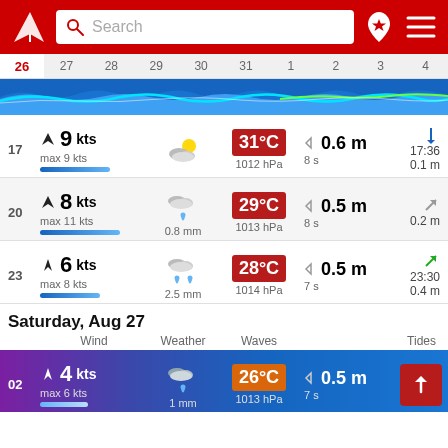[Figure (screenshot): App header with logo, search bar, favorites icon, and menu icon on red background]
[Figure (infographic): Date strip showing days 26-4 with wave chart below]
17  9 kts  max 9 kts  31°C  1012 hPa  0.6 m  8 s  17:36  0.1 m
20  8 kts  max 11 kts  0.8 mm  29°C  1013 hPa  0.5 m  8 s  0.2 m
23  6 kts  max 8 kts  2.5 mm  28°C  1014 hPa  0.5 m  7 s  23:30  0.4 m
Saturday, Aug 27
Wind  Weather  Waves  Tides
02  4 kts  max 6 kts  1 mm  26°C  1013 hPa  0.5 m  7 s